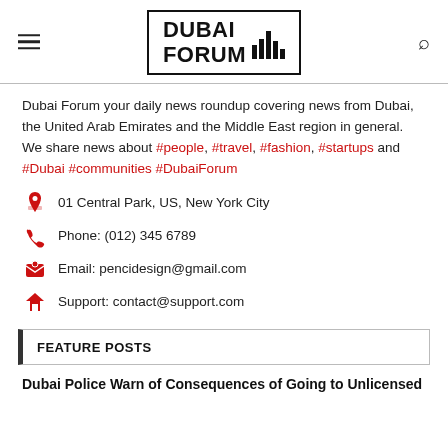Dubai Forum
Dubai Forum your daily news roundup covering news from Dubai, the United Arab Emirates and the Middle East region in general.
We share news about #people, #travel, #fashion, #startups and #Dubai #communities #DubaiForum
01 Central Park, US, New York City
Phone: (012) 345 6789
Email: pencidesign@gmail.com
Support: contact@support.com
FEATURE POSTS
Dubai Police Warn of Consequences of Going to Unlicensed